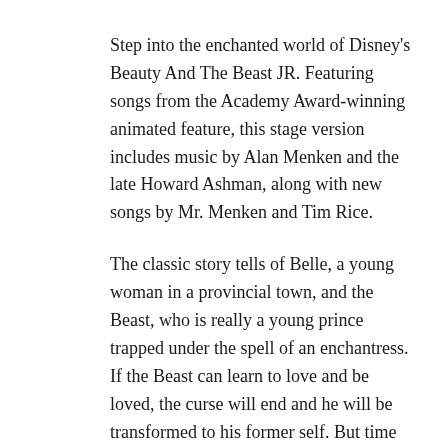Step into the enchanted world of Disney's Beauty And The Beast JR. Featuring songs from the Academy Award-winning animated feature, this stage version includes music by Alan Menken and the late Howard Ashman, along with new songs by Mr. Menken and Tim Rice.
The classic story tells of Belle, a young woman in a provincial town, and the Beast, who is really a young prince trapped under the spell of an enchantress. If the Beast can learn to love and be loved, the curse will end and he will be transformed to his former self. But time is
running out. If the Beast does not learn his lesson soon, he and his household will be doomed for all eternity.
Box Office: 705-739-4228